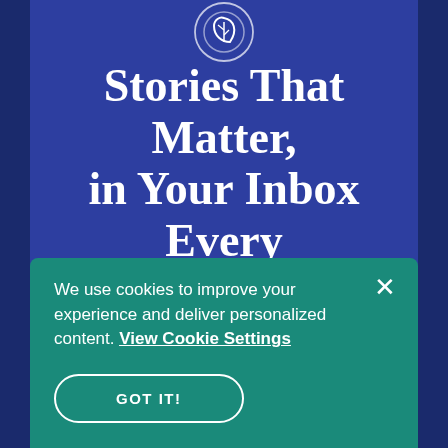[Figure (illustration): Circular leaf icon in white outline, positioned at the top center of the blue panel]
Stories That Matter, in Your Inbox Every Tuesday
We use cookies to improve your experience and deliver personalized content. View Cookie Settings
GOT IT!
SIGN UP